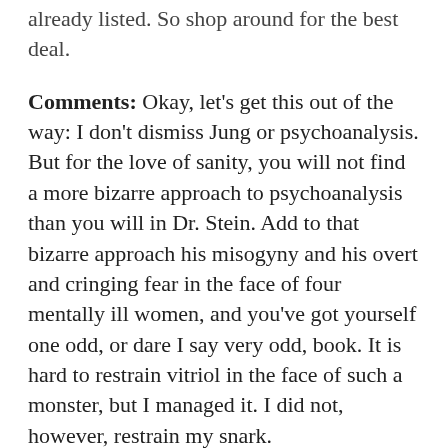already listed. So shop around for the best deal.
Comments: Okay, let's get this out of the way: I don't dismiss Jung or psychoanalysis. But for the love of sanity, you will not find a more bizarre approach to psychoanalysis than you will in Dr. Stein. Add to that bizarre approach his misogyny and his overt and cringing fear in the face of four mentally ill women, and you've got yourself one odd, or dare I say very odd, book. It is hard to restrain vitriol in the face of such a monster, but I managed it. I did not, however, restrain my snark.
When this book arrived in the mail, I scanned the book and a little of the content and wondered if it was really an odd book after all. In small doses, in Loathsome Women it seemed like Dr. Stein was approaching his patients' manifestation of